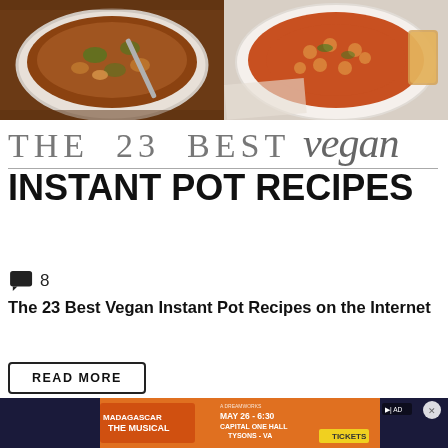[Figure (photo): Two food photos side by side: left shows a bowl of stew with herbs and a spoon, right shows a bowl of chickpea/tomato dish on a white plate]
THE 23 BEST vegan
INSTANT POT RECIPES
8
The 23 Best Vegan Instant Pot Recipes on the Internet
READ MORE
[Figure (photo): Madagascar the Musical advertisement banner showing May 26 at Capital One Hall, Tysons VA with tickets CTA]